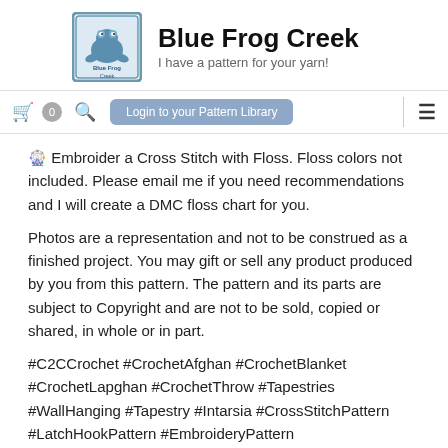[Figure (logo): Blue Frog Creek logo — a square border with stylized blue frog illustration and text 'Blue Frog Creek']
Blue Frog Creek
I have a pattern for your yarn!
Login to your Pattern Library
🎡 Embroider a Cross Stitch with Floss. Floss colors not included. Please email me if you need recommendations and I will create a DMC floss chart for you.
Photos are a representation and not to be construed as a finished project. You may gift or sell any product produced by you from this pattern. The pattern and its parts are subject to Copyright and are not to be sold, copied or shared, in whole or in part.
#C2CCrochet #CrochetAfghan #CrochetBlanket #CrochetLapghan #CrochetThrow #Tapestries #WallHanging #Tapestry #Intarsia #CrossStitchPattern #LatchHookPattern #EmbroideryPattern #GraphghanPattern #PDFCrochetPattern